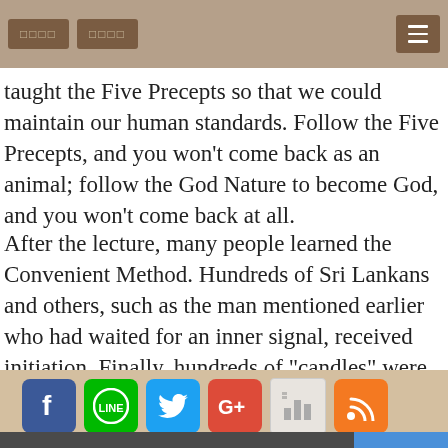□□□□  □□□□  ≡
taught the Five Precepts so that we could maintain our human standards. Follow the Five Precepts, and you won't come back as an animal; follow the God Nature to become God, and you won't come back at all.
After the lecture, many people learned the Convenient Method. Hundreds of Sri Lankans and others, such as the man mentioned earlier who had waited for an inner signal, received initiation. Finally, hundreds of "candles" were lit that night in Colombo, Sri Lanka, to shine in this little Buddha island!
[Figure (other): Row of social media icons: Facebook, LINE, Twitter, Google+, bar chart icon, RSS feed icon]
youremail@domain.com  Subscribe